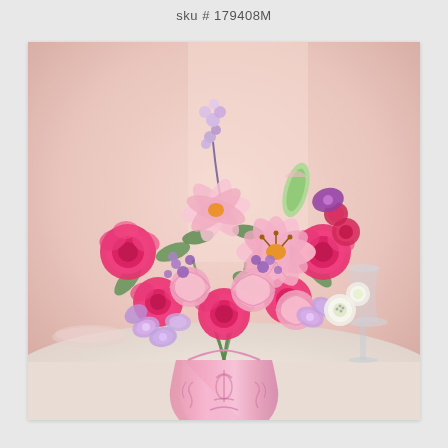sku # 179408M
[Figure (photo): A floral bouquet arrangement featuring pink roses, pink lilies, pink carnations, purple alstroemeria, purple statice, and white flowers arranged in a pink decorative glass vase with ornate embossed pattern. The arrangement is photographed on a white surface with a soft pink background.]